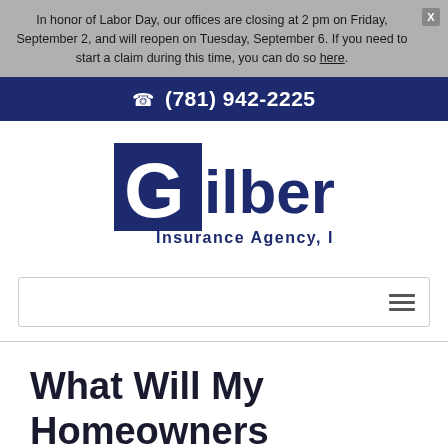In honor of Labor Day, our offices are closing at 2 pm on Friday, September 2, and will reopen on Tuesday, September 6. If you need to start a claim during this time, you can do so here.
(781) 942-2225
[Figure (logo): Gilbert Insurance Agency, Inc. logo — dark navy square with stylized G and 'ilbert' text, 'Insurance Agency, Inc.' below]
What Will My Homeowners Insurance Cost?